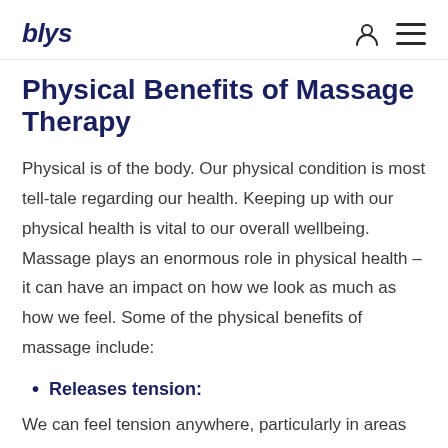blys
Physical Benefits of Massage Therapy
Physical is of the body. Our physical condition is most tell-tale regarding our health. Keeping up with our physical health is vital to our overall wellbeing. Massage plays an enormous role in physical health – it can have an impact on how we look as much as how we feel. Some of the physical benefits of massage include:
Releases tension:
We can feel tension anywhere, particularly in areas like the neck, shoulders and back. Pain, discomfort, tightness